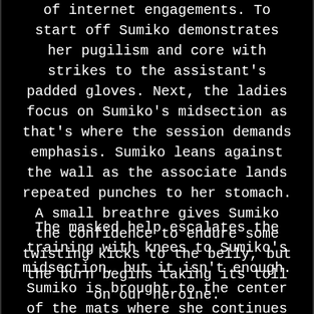of internet engagements. To start off Sumiko demonstrates her pugilism and core with strikes to the assistant's padded gloves. Next, the ladies focus on Sumiko's midsection as that's where the session demands emphasis. Sumiko leans against the wall as the associate lands repeated punches to her stomach. A small breathre gives Sumiko the confidence to endure some twisting kicks to the belly, but the burn begins taking its toll on our heroine.
The masked help escalates the training with knees to Sumiko's midsection, but it isn't enough. Sumiko is brought to the center of the mats where she continues to eat a myriad of blows to the stomach without the aid of the wall. With a bit of trust established between the two, Sumiko's aide escalates the training even further as Sumiko's